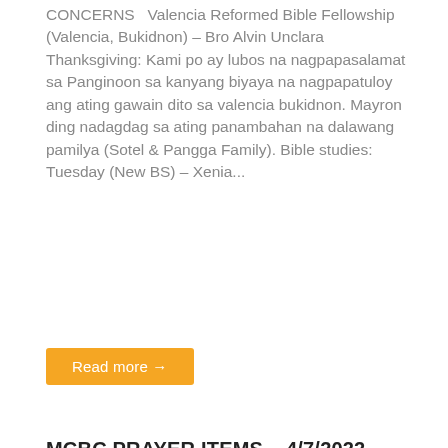CONCERNS   Valencia Reformed Bible Fellowship (Valencia, Bukidnon) – Bro Alvin Unclara Thanksgiving: Kami po ay lubos na nagpapasalamat sa Panginoon sa kanyang biyaya na nagpapatuloy ang ating gawain dito sa valencia bukidnon. Mayron ding nadagdag sa ating panambahan na dalawang pamilya (Sotel & Pangga Family). Bible studies: Tuesday (New BS) – Xenia...
Read more →
MCBC PRAYER ITEMS – 4/7/2022
April 7, 2022 | No Comments | Categories: Announcements
[Figure (photo): Blue background image with MCBC logo/emblem visible at bottom center, with partial text visible]